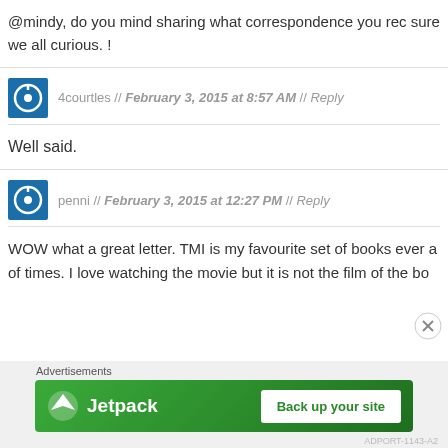@mindy, do you mind sharing what correspondence you rec sure we all curious. !
[Figure (other): User avatar icon - blue square with white power/circle symbol for user 4courtles]
4courtles // February 3, 2015 at 8:57 AM // Reply
Well said.
[Figure (other): User avatar icon - blue square with white power/circle symbol for user penni]
penni // February 3, 2015 at 12:27 PM // Reply
WOW what a great letter. TMI is my favourite set of books ever a of times. I love watching the movie but it is not the film of the bo
Advertisements
[Figure (other): Jetpack advertisement banner - green background with Jetpack logo and Back up your site button]